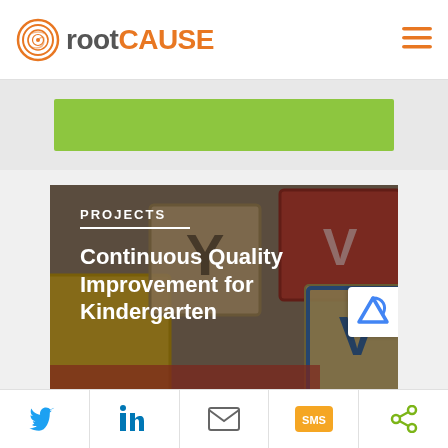[Figure (logo): rootCAUSE logo with orange spiral icon, grey 'root' and orange 'CAUSE' text, hamburger menu icon on the right]
[Figure (other): Green rectangular bar on light grey background]
[Figure (photo): Colorful toy alphabet blocks (yellow, red, blue, tan) as background image with overlaid white text 'PROJECTS' and 'Continuous Quality Improvement for Kindergarten']
Twitter | LinkedIn | Email | SMS | Share social media sharing bar